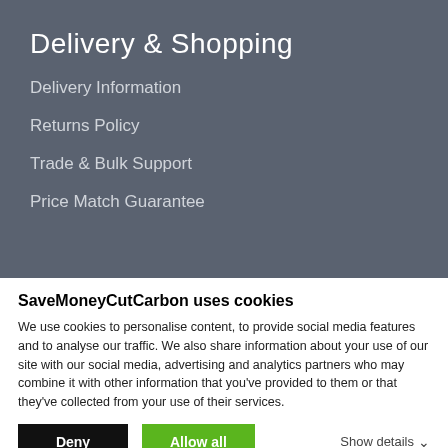Delivery & Shopping
Delivery Information
Returns Policy
Trade & Bulk Support
Price Match Guarantee
SaveMoneyCutCarbon uses cookies
We use cookies to personalise content, to provide social media features and to analyse our traffic. We also share information about your use of our site with our social media, advertising and analytics partners who may combine it with other information that you've provided to them or that they've collected from your use of their services.
Deny | Allow all | Show details